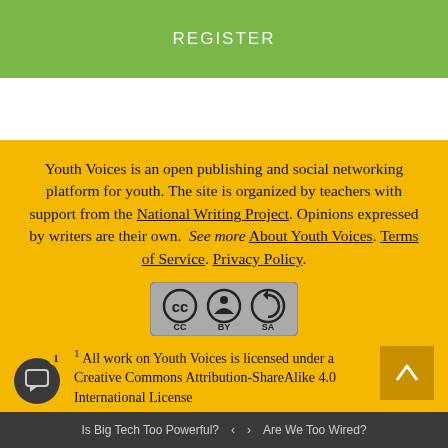REGISTER
Youth Voices is an open publishing and social networking platform for youth. The site is organized by teachers with support from the National Writing Project. Opinions expressed by writers are their own. See more About Youth Voices. Terms of Service. Privacy Policy.
[Figure (logo): Creative Commons BY-SA license badge]
All work on Youth Voices is licensed under a Creative Commons Attribution-ShareAlike 4.0 International License
Is Big Tech Too Powerful? < > Are We Too Wired?